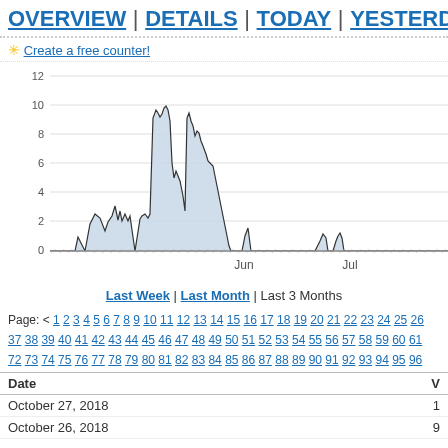OVERVIEW | DETAILS | TODAY | YESTERDAY |
✳ Create a free counter!
[Figure (area-chart): Area chart showing visitor counts over approximately 3 months. Peak around 10.3 in May, small spikes near Jun (~1.2) and Jul (~1.3), mostly near 0 otherwise.]
Last Week | Last Month | Last 3 Months
Page: < 1 2 3 4 5 6 7 8 9 10 11 12 13 14 15 16 17 18 19 20 21 22 23 24 25 26 37 38 39 40 41 42 43 44 45 46 47 48 49 50 51 52 53 54 55 56 57 58 59 60 61 72 73 74 75 76 77 78 79 80 81 82 83 84 85 86 87 88 89 90 91 92 93 94 95 96
| Date | V |
| --- | --- |
| October 27, 2018 | 1 |
| October 26, 2018 | 9 |